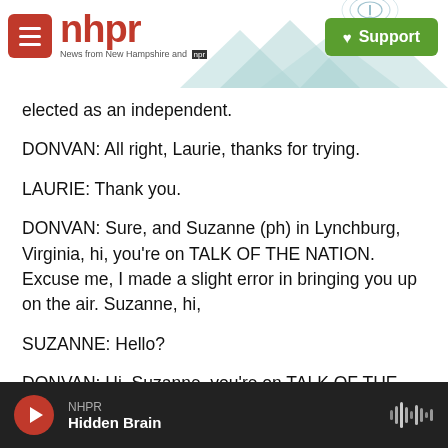[Figure (screenshot): NHPR website header with logo, hamburger menu, mountain silhouette background, and green Support button]
elected as an independent.
DONVAN: All right, Laurie, thanks for trying.
LAURIE: Thank you.
DONVAN: Sure, and Suzanne (ph) in Lynchburg, Virginia, hi, you're on TALK OF THE NATION. Excuse me, I made a slight error in bringing you up on the air. Suzanne, hi,
SUZANNE: Hello?
DONVAN: Hi, Suzanne, you're on TALK OF THE
NHPR  Hidden Brain